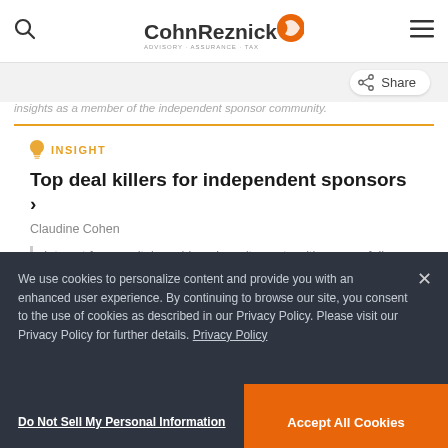CohnReznick
insights as a member of the independent sponsor community.
INSIGHT
Top deal killers for independent sponsors ›
Claudine Cohen
Interest from capital providers doesn't equate with successfully closing a deal. Read how to avoid common deal pitfalls in diligence, timing, and more.
We use cookies to personalize content and provide you with an enhanced user experience. By continuing to browse our site, you consent to the use of cookies as described in our Privacy Policy. Please visit our Privacy Policy for further details. Privacy Policy
Do Not Sell My Personal Information
Accept All Cookies